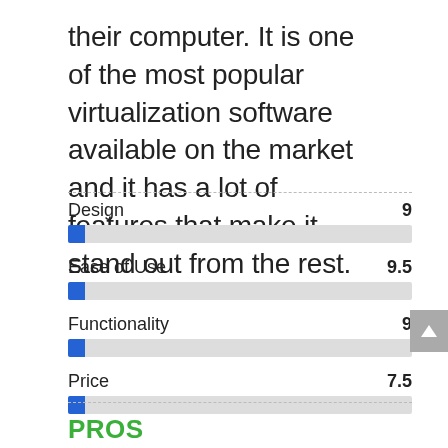their computer. It is one of the most popular virtualization software available on the market and it has a lot of features that make it stand out from the rest.
[Figure (bar-chart): Ratings]
PROS